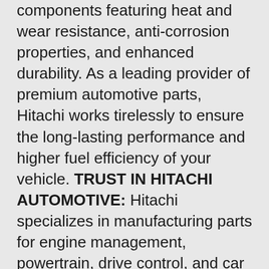components featuring heat and wear resistance, anti-corrosion properties, and enhanced durability. As a leading provider of premium automotive parts, Hitachi works tirelessly to ensure the long-lasting performance and higher fuel efficiency of your vehicle. TRUST IN HITACHI AUTOMOTIVE: Hitachi specializes in manufacturing parts for engine management, powertrain, drive control, and car information systems for major automotive original equipment manufacturers worldwide. Their latest initiatives aim to usher in a new age for the automobile industry through modern technologies including the Internet of Things (IoT), AI, and Big Data. Hitachi Automotive Systems Americas, Inc. A leading global automotive supplier, manufactures automotive parts recognized for quality